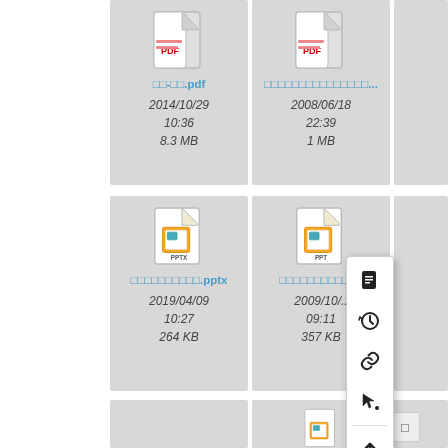[Figure (screenshot): File manager grid view showing file cards with icons, filenames, dates, and sizes. First row: PDF file (□□-□□.pdf, 2014/10/29 10:36, 8.3 MB) and another PDF (□□□□□□□□□□□□□□□..., 2008/06/18 22:39, 1 MB). Second row: PPTX file (□□□□□□□□□□.pptx, 2019/04/09 10:27, 264 KB) and PPT file (□□□□□□□□□□□□, 2009/10/.. 09:11, 357 KB). A context menu overlay is visible with icons for info, history, link, move, and upload. A third row is partially visible at the bottom.]